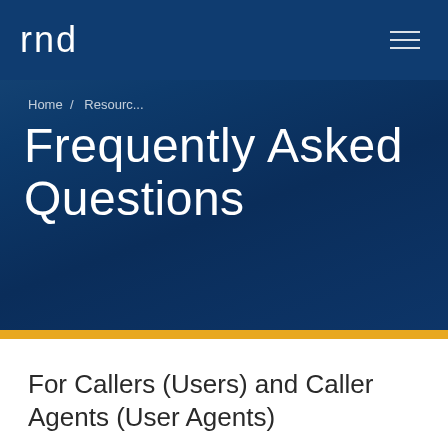rnd
Home / Resourc...
Frequently Asked Questions
For Callers (Users) and Caller Agents (User Agents)